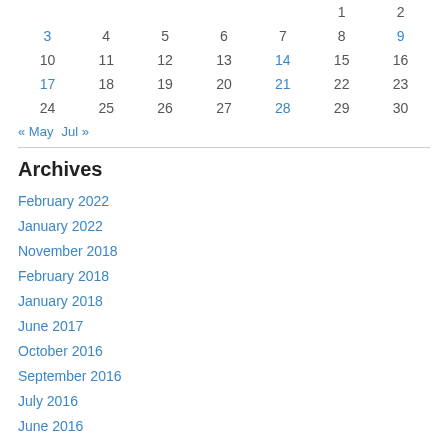|  |  |  |  |  | 1 | 2 |
| 3 | 4 | 5 | 6 | 7 | 8 | 9 |
| 10 | 11 | 12 | 13 | 14 | 15 | 16 |
| 17 | 18 | 19 | 20 | 21 | 22 | 23 |
| 24 | 25 | 26 | 27 | 28 | 29 | 30 |
« May   Jul »
Archives
February 2022
January 2022
November 2018
February 2018
January 2018
June 2017
October 2016
September 2016
July 2016
June 2016